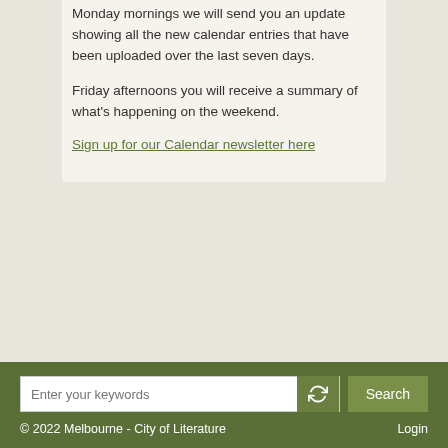Monday mornings we will send you an update showing all the new calendar entries that have been uploaded over the last seven days.
Friday afternoons you will receive a summary of what's happening on the weekend.
Sign up for our Calendar newsletter here
© 2022 Melbourne - City of Literature    Login